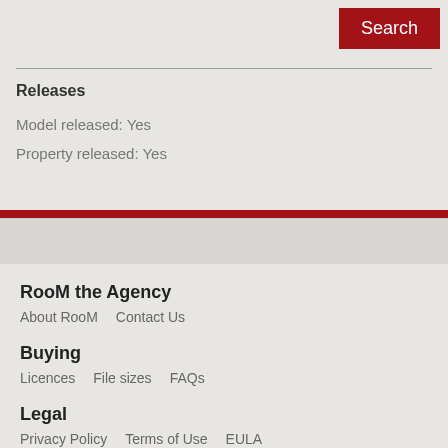Search
Releases
Model released: Yes
Property released: Yes
RooM the Agency
About RooM    Contact Us
Buying
Licences    File sizes    FAQs
Legal
Privacy Policy    Terms of Use    EULA